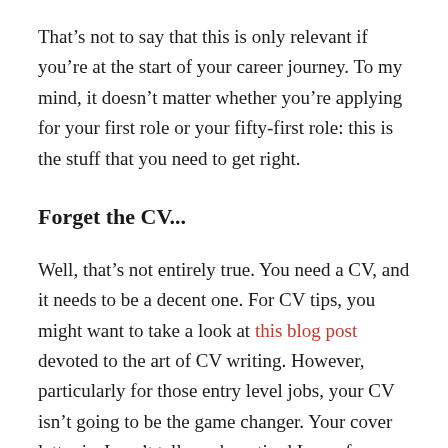That's not to say that this is only relevant if you're at the start of your career journey. To my mind, it doesn't matter whether you're applying for your first role or your fifty-first role: this is the stuff that you need to get right.
Forget the CV...
Well, that's not entirely true. You need a CV, and it needs to be a decent one. For CV tips, you might want to take a look at this blog post devoted to the art of CV writing. However, particularly for those entry level jobs, your CV isn't going to be the game changer. Your cover letter is. I can't tell you how tired I am of receiving bland, impersonal cover letters, which are exact